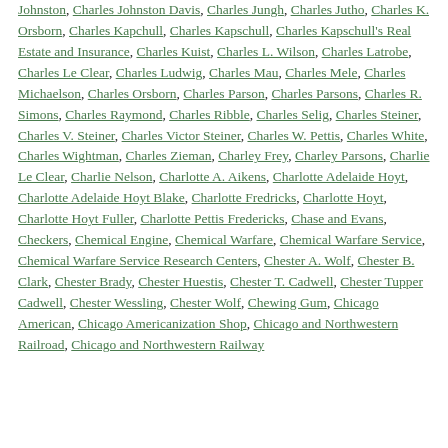Johnston, Charles Johnston Davis, Charles Jungh, Charles Jutho, Charles K. Orsborn, Charles Kapchull, Charles Kapschull, Charles Kapschull's Real Estate and Insurance, Charles Kuist, Charles L. Wilson, Charles Latrobe, Charles Le Clear, Charles Ludwig, Charles Mau, Charles Mele, Charles Michaelson, Charles Orsborn, Charles Parson, Charles Parsons, Charles R. Simons, Charles Raymond, Charles Ribble, Charles Selig, Charles Steiner, Charles V. Steiner, Charles Victor Steiner, Charles W. Pettis, Charles White, Charles Wightman, Charles Zieman, Charley Frey, Charley Parsons, Charlie Le Clear, Charlie Nelson, Charlotte A. Aikens, Charlotte Adelaide Hoyt, Charlotte Adelaide Hoyt Blake, Charlotte Fredricks, Charlotte Hoyt, Charlotte Hoyt Fuller, Charlotte Pettis Fredericks, Chase and Evans, Checkers, Chemical Engine, Chemical Warfare, Chemical Warfare Service, Chemical Warfare Service Research Centers, Chester A. Wolf, Chester B. Clark, Chester Brady, Chester Huestis, Chester T. Cadwell, Chester Tupper Cadwell, Chester Wessling, Chester Wolf, Chewing Gum, Chicago American, Chicago Americanization Shop, Chicago and Northwestern Railroad, Chicago and Northwestern Railway